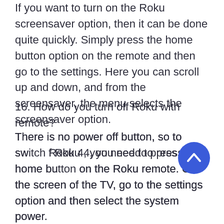If you want to turn on the Roku screensaver option, then it can be done quite quickly. Simply press the home button option on the remote and then go to the settings. Here you can scroll up and down, and from the screensaver, the menu selects the screensaver option.
16. How do you turn off Roku with remote?
There is no power off button, so to switch Roku 4, you need to press the home button on the Roku remote. On the screen of the TV, go to the settings option and then select the system power.